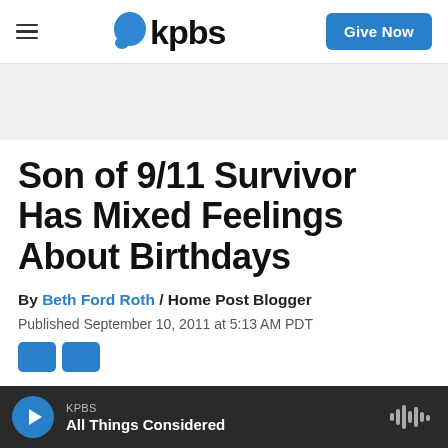kpbs | Give Now
Son of 9/11 Survivor Has Mixed Feelings About Birthdays
By Beth Ford Roth / Home Post Blogger
Published September 10, 2011 at 5:13 AM PDT
KPBS All Things Considered